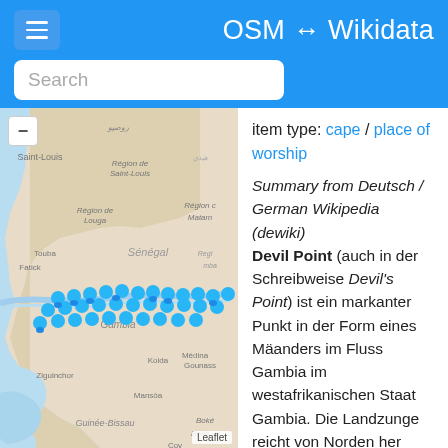OSM ↔ Wikidata
[Figure (map): Interactive map showing Senegal, Gambia, and Guinea-Bissau region with multiple blue location markers clustered around Gambia. Map shows Saint-Louis, Région de Saint-Louis, Région de Louga, Sénégal, Région de Matam, Touba, Fatick, Régions, Gambia, Kolda, Médina Gounass, Ziguinchor, Mansôa, Guinée-Bissau, Boké, Coy labels. Powered by Leaflet.]
item type: cape / place of worship
Summary from Deutsch / German Wikipedia (dewiki) Devil Point (auch in der Schreibweise Devil's Point) ist ein markanter Punkt in der Form eines Mäanders im Fluss Gambia im westafrikanischen Staat Gambia. Die Landzunge reicht von Norden her leicht hügelig mit Bäumen bewachsen nach Süden. Der Fluss ist an dieser